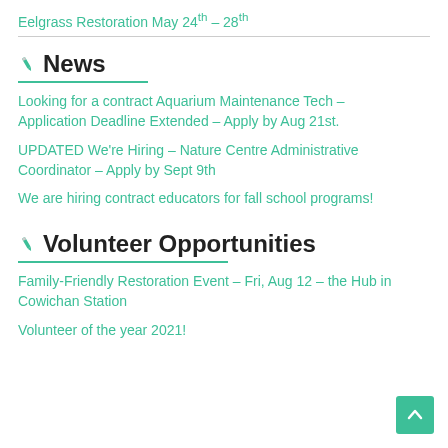Eelgrass Restoration May 24th – 28th
News
Looking for a contract Aquarium Maintenance Tech – Application Deadline Extended – Apply by Aug 21st.
UPDATED We're Hiring – Nature Centre Administrative Coordinator – Apply by Sept 9th
We are hiring contract educators for fall school programs!
Volunteer Opportunities
Family-Friendly Restoration Event – Fri, Aug 12 – the Hub in Cowichan Station
Volunteer of the year 2021!